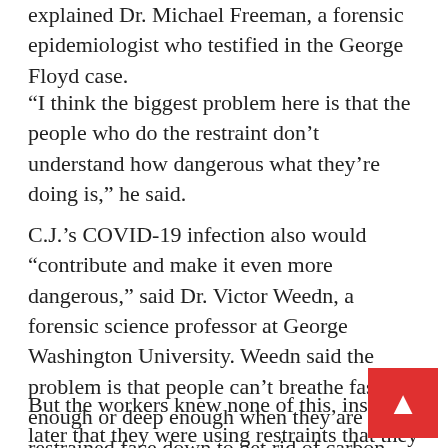explained Dr. Michael Freeman, a forensic epidemiologist who testified in the George Floyd case.
“I think the biggest problem here is that the people who do the restraint don’t understand how dangerous what they’re doing is,” he said.
C.J.’s COVID-19 infection also would “contribute and make it even more dangerous,” said Dr. Victor Weedn, a forensic science professor at George Washington University. Weedn said the problem is that people can’t breathe fast enough or deep enough when they are restrained face down to get rid of carbon dioxide, especially if they are under stress.
But the workers knew none of this, insisting later that they were using restraints that they had been tau... took them about 5 minutes longer to notice som... was wrong, roll C.J. on his back and start cheat...